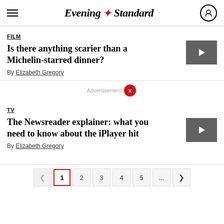Evening Standard
FILM
Is there anything scarier than a Michelin-starred dinner?
By Elizabeth Gregory
TV
The Newsreader explainer: what you need to know about the iPlayer hit
By Elizabeth Gregory
1 2 3 4 5 ...